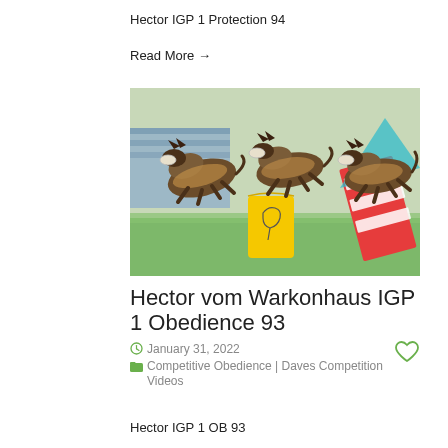Hector IGP 1 Protection 94
Read More →
[Figure (photo): Three German Shepherd dogs mid-air jumping over agility obstacles including a yellow barrel and red-and-white ramp on a field, each carrying a disc in their mouths]
Hector vom Warkonhaus IGP 1 Obedience 93
January 31, 2022
Competitive Obedience | Daves Competition Videos
Hector IGP 1 OB 93